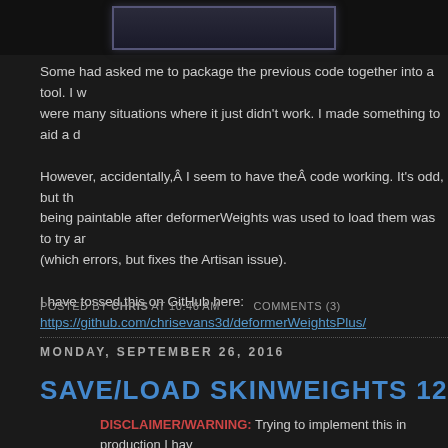[Figure (screenshot): Top navigation/header bar area of a blog website, dark themed, with a rectangular element in the center]
Some had asked me to package the previous code together into a tool. I w were many situations where it just didn't work. I made something to aid a d
However, accidentally,Â I seem to have theÂ code working. It's odd, but th being paintable after deformerWeights was used to load them was to try ar (which errors, but fixes the Artisan issue).
I have tossed this on GitHub here:
https://github.com/chrisevans3d/deformerWeightsPlus/
POSTED BY CHRIS AT 10:46 AM    COMMENTS (3)
MONDAY, SEPTEMBER 26, 2016
SAVE/LOAD SKINWEIGHTS 125X FAST
DISCLAIMER/WARNING: Trying to implement this in production I hav the massive list that do not work. The ignore names flag 'ig' causes a weight precision flag 'wp' isn't implemented though it's documented